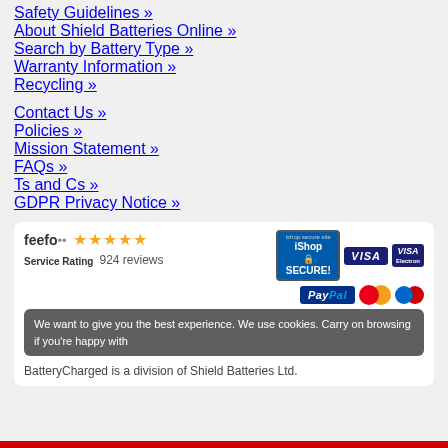Safety Guidelines »
About Shield Batteries Online »
Search by Battery Type »
Warranty Information »
Recycling »
Contact Us »
Policies »
Mission Statement »
FAQs »
Ts and Cs »
GDPR Privacy Notice »
[Figure (infographic): Footer section with Feefo service rating (924 reviews, 4.5 stars), iShop Secure badge, Visa, Visa Electron, PayPal, MasterCard, and Maestro payment logos. Cookie consent overlay text: 'We want to give you the best experience. We use cookies. Carry on browsing if you're happy with'. Footer text: 'BatteryCharged is a division of Shield Batteries Ltd.']